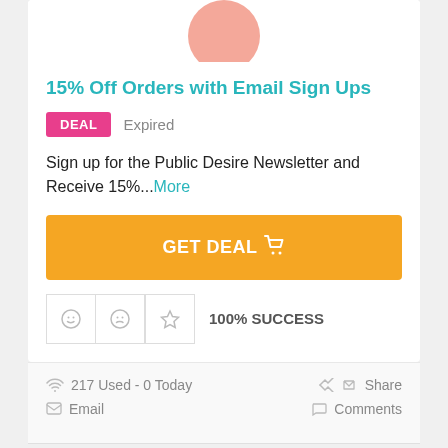[Figure (illustration): Partial pink circle at top of card, cropped at top edge]
15% Off Orders with Email Sign Ups
DEAL   Expired
Sign up for the Public Desire Newsletter and Receive 15%...More
GET DEAL 🛒
☺ ☹ ☆   100% SUCCESS
217 Used - 0 Today
Share
Email
Comments
Load More Coupons ⊙